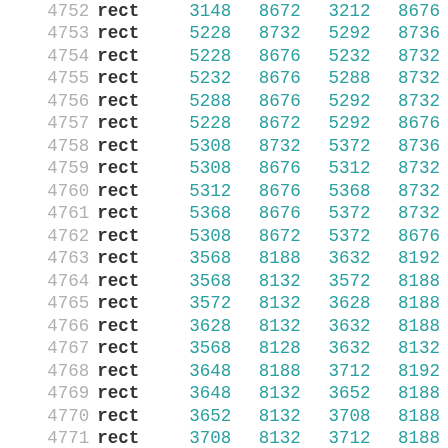| index | type | x1 | y1 | x2 | y2 |
| --- | --- | --- | --- | --- | --- |
| 4752 | rect | 3148 | 8672 | 3212 | 8676 |
| 4753 | rect | 5228 | 8732 | 5292 | 8736 |
| 4754 | rect | 5228 | 8676 | 5232 | 8732 |
| 4755 | rect | 5232 | 8676 | 5288 | 8732 |
| 4756 | rect | 5288 | 8676 | 5292 | 8732 |
| 4757 | rect | 5228 | 8672 | 5292 | 8676 |
| 4758 | rect | 5308 | 8732 | 5372 | 8736 |
| 4759 | rect | 5308 | 8676 | 5312 | 8732 |
| 4760 | rect | 5312 | 8676 | 5368 | 8732 |
| 4761 | rect | 5368 | 8676 | 5372 | 8732 |
| 4762 | rect | 5308 | 8672 | 5372 | 8676 |
| 4763 | rect | 3568 | 8188 | 3632 | 8192 |
| 4764 | rect | 3568 | 8132 | 3572 | 8188 |
| 4765 | rect | 3572 | 8132 | 3628 | 8188 |
| 4766 | rect | 3628 | 8132 | 3632 | 8188 |
| 4767 | rect | 3568 | 8128 | 3632 | 8132 |
| 4768 | rect | 3648 | 8188 | 3712 | 8192 |
| 4769 | rect | 3648 | 8132 | 3652 | 8188 |
| 4770 | rect | 3652 | 8132 | 3708 | 8188 |
| 4771 | rect | 3708 | 8132 | 3712 | 8188 |
| 4772 | rect | 3648 | 8128 | 3712 | 8132 |
| 4773 | rect | 3728 | 8188 | 3792 | 8192 |